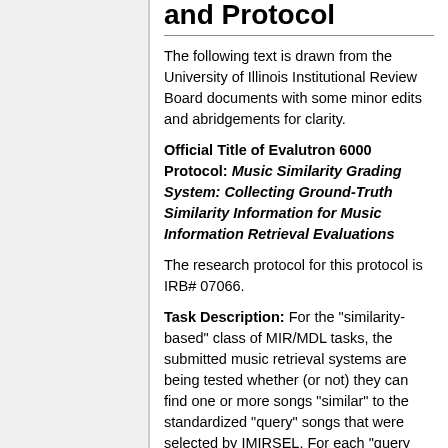and Protocol
The following text is drawn from the University of Illinois Institutional Review Board documents with some minor edits and abridgements for clarity.
Official Title of Evalutron 6000 Protocol: Music Similarity Grading System: Collecting Ground-Truth Similarity Information for Music Information Retrieval Evaluations
The research protocol for this protocol is IRB# 07066.
Task Description: For the "similarity-based" class of MIR/MDL tasks, the submitted music retrieval systems are being tested whether (or not) they can find one or more songs "similar" to the standardized "query" songs that were selected by IMIRSEL. For each "query song," each retrieval system under evaluation gives IMIRSEL a list of songs that it "thinks" are similar to the "query song". These songs are called "candidate songs" (or simply, "candidates"). IMIRSEL gathers up these lists